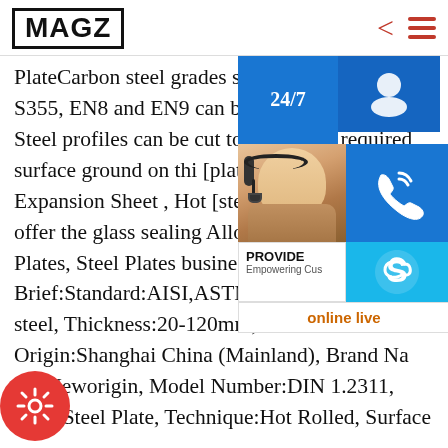MAGZ
PlateCarbon steel grades such as mild steel S275 S355, EN8 and EN9 can be supplied flat plate. Steel profiles can be cut to your and if required surface ground on thi [plate]52 Alloy Controlled Expansion Sheet , Hot [steel]At National Electro offer the glass sealing Alloy 52 a cont Steel Plates, Steel Plates business dir Quick Brief:Standard:AISI,ASTM,BS, Grade:mould steel, Thickness:20-120mm, Place of Origin:Shanghai China (Mainland), Brand Name:Neworigin, Model Number:DIN 1.2311, Type:Steel Plate, Technique:Hot Rolled, Surface Treatment:Uncoated, Application:Other, Special
[Figure (screenshot): Customer service overlay with 24/7 badge, headset icon, phone icon, Skype icon, PROVIDE Empowering Customers text, and online live button over a photo of a woman with headset]